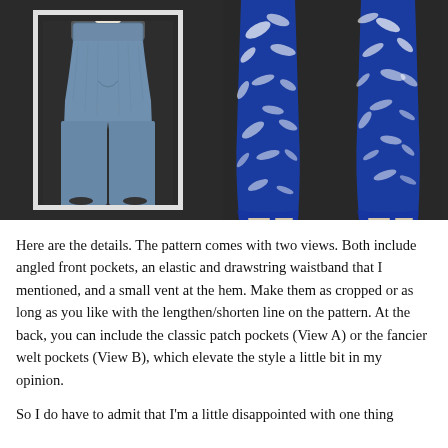[Figure (photo): Left side: denim pants (View A) displayed on a mannequin inside a white-bordered frame, on a dark background. Right side: two mannequin legs wearing blue floral cropped pants (View B), on a dark background.]
Here are the details. The pattern comes with two views. Both include angled front pockets, an elastic and drawstring waistband that I mentioned, and a small vent at the hem. Make them as cropped or as long as you like with the lengthen/shorten line on the pattern. At the back, you can include the classic patch pockets (View A) or the fancier welt pockets (View B), which elevate the style a little bit in my opinion.
So I do have to admit that I'm a little disappointed with one thing